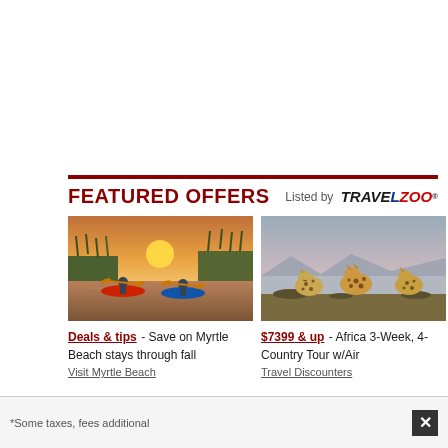FEATURED OFFERS
[Figure (photo): Two people kayaking through marsh grass at sunset]
[Figure (photo): Three cheetahs sitting side by side overlooking a lake at dusk]
Deals & tips  - Save on Myrtle Beach stays through fall
Visit Myrtle Beach
$7399 & up  - Africa 3-Week, 4-Country Tour w/Air
Travel Discounters
*Some taxes, fees additional